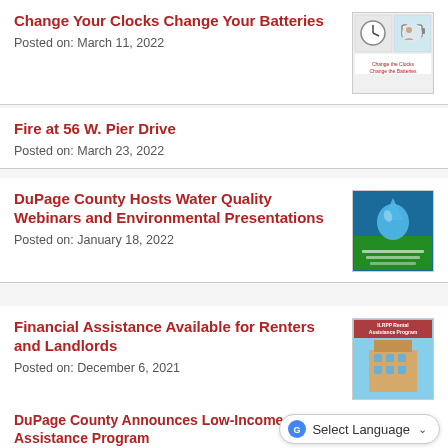Change Your Clocks Change Your Batteries
Posted on: March 11, 2022
[Figure (illustration): Change Your Clocks Change Your Batteries promotional image with clock and battery graphics]
Fire at 56 W. Pier Drive
Posted on: March 23, 2022
DuPage County Hosts Water Quality Webinars and Environmental Presentations
Posted on: January 18, 2022
[Figure (illustration): DuPage County water quality webinar logo with water droplet and green/blue background]
Financial Assistance Available for Renters and Landlords
Posted on: December 6, 2021
[Figure (illustration): ILRPP Rental Assistance Program image showing apartment building]
DuPage County Announces Low-Income Household Water Assistance Program
Posted on: January 18, 2022